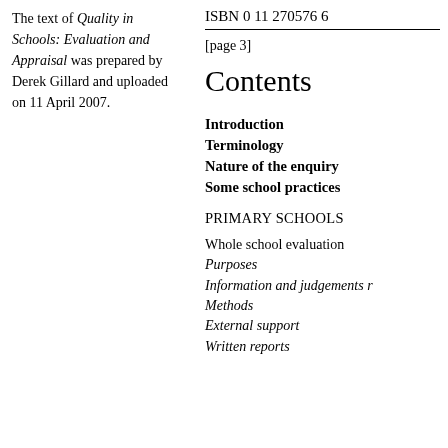The text of Quality in Schools: Evaluation and Appraisal was prepared by Derek Gillard and uploaded on 11 April 2007.
ISBN 0 11 270576 6
[page 3]
Contents
Introduction
Terminology
Nature of the enquiry
Some school practices
PRIMARY SCHOOLS
Whole school evaluation
Purposes
Information and judgements r
Methods
External support
Written reports